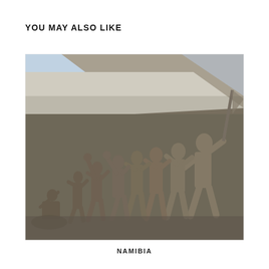YOU MAY ALSO LIKE
[Figure (photo): A large bronze or stone relief sculpture on a monument wall showing a group of marching figures including soldiers and civilians with raised fists and a flag, depicted in mid-stride from left to right. The relief is set against a diagonal architectural element and a light blue sky in the upper portion.]
NAMIBIA